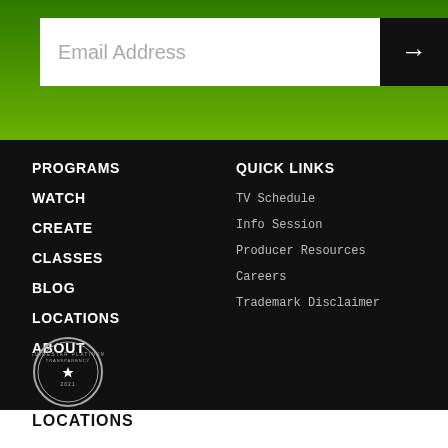[Figure (other): Email address input field with arrow submit button on green gradient background]
PROGRAMS
WATCH
CREATE
CLASSES
BLOG
LOCATIONS
ABOUT
QUICK LINKS
TV Schedule
Info Session
Producer Resources
Careers
Trademark Disclaimer
[Figure (logo): GuideStar Platinum Transparency 2021 badge/seal]
LOCATIONS